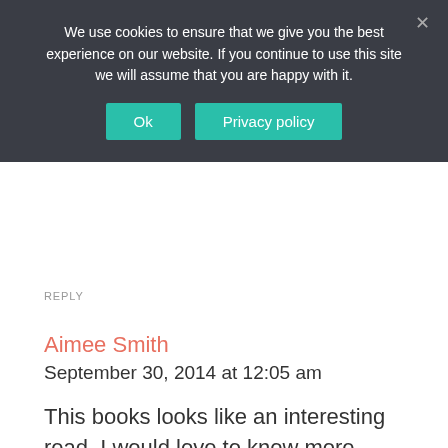We use cookies to ensure that we give you the best experience on our website. If you continue to use this site we will assume that you are happy with it.
Ok
Privacy policy
REPLY
Aimee Smith
September 30, 2014 at 12:05 am
This books looks like an interesting read. I would love to know more about this topic.